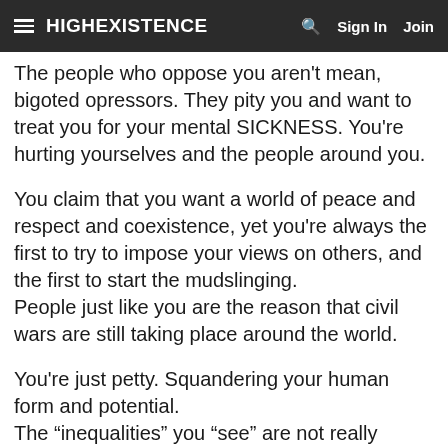HIGHEXISTENCE | Sign In | Join
The people who oppose you aren't mean, bigoted opressors. They pity you and want to treat you for your mental SICKNESS. You're hurting yourselves and the people around you.
You claim that you want a world of peace and respect and coexistence, yet you're always the first to try to impose your views on others, and the first to start the mudslinging.
People just like you are the reason that civil wars are still taking place around the world.
You're just petty. Squandering your human form and potential.
The “inequalities” you “see” are not really inequalitites, they're the results of biology and physics.
If you're against that shit, what are you even doing in